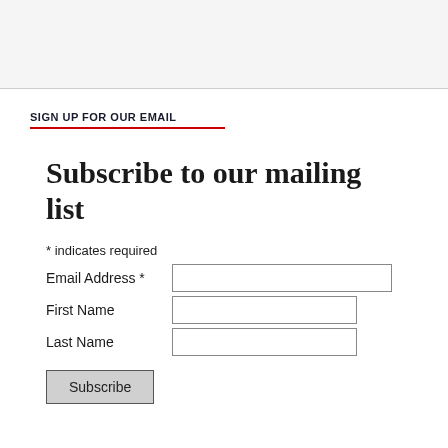SIGN UP FOR OUR EMAIL
Subscribe to our mailing list
* indicates required
Email Address *
First Name
Last Name
Subscribe